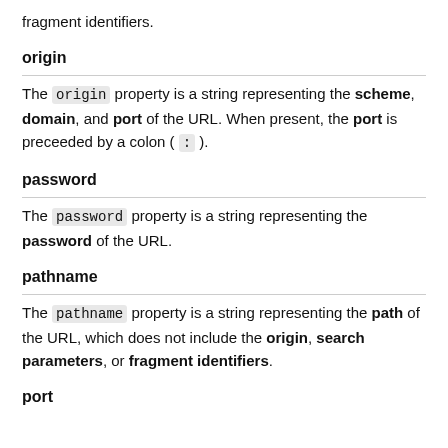fragment identifiers.
origin
The origin property is a string representing the scheme, domain, and port of the URL. When present, the port is preceeded by a colon ( : ).
password
The password property is a string representing the password of the URL.
pathname
The pathname property is a string representing the path of the URL, which does not include the origin, search parameters, or fragment identifiers.
port